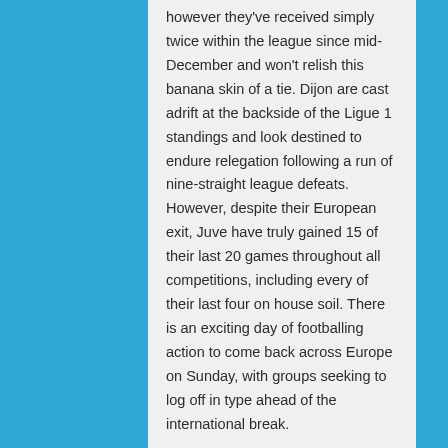however they've received simply twice within the league since mid-December and won't relish this banana skin of a tie. Dijon are cast adrift at the backside of the Ligue 1 standings and look destined to endure relegation following a run of nine-straight league defeats. However, despite their European exit, Juve have truly gained 15 of their last 20 games throughout all competitions, including every of their last four on house soil. There is an exciting day of footballing action to come back across Europe on Sunday, with groups seeking to log off in type ahead of the international break.
Let's begin by discussing the welcome offer out there to new customers at 1XBet. The good news for gamers that